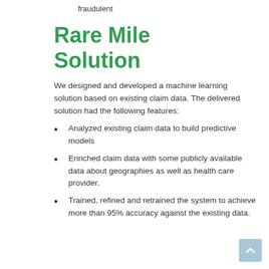fraudulent
Rare Mile Solution
We designed and developed a machine learning solution based on existing claim data. The delivered solution had the following features:
Analyzed existing claim data to build predictive models
Enriched claim data with some publicly available data about geographies as well as health care provider.
Trained, refined and retrained the system to achieve more than 95% accuracy against the existing data.